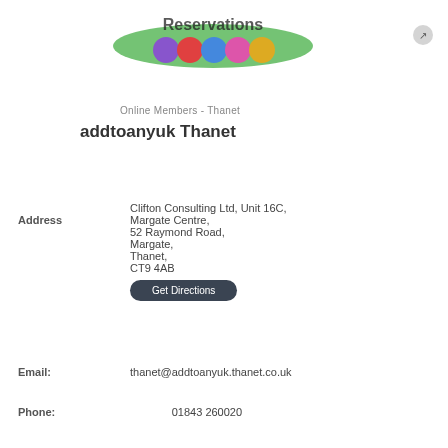[Figure (logo): Colorful circular logo with text, featuring colored circles (purple, red, blue, pink, yellow) on a green background]
Online Members - Thanet
addtoanyuk Thanet
Address
Clifton Consulting Ltd, Unit 16C, Margate Centre, 52 Raymond Road, Margate, Thanet, CT9 4AB
Email
thanet@addtoanyuk.thanet.co.uk
Phone: 01843 260020